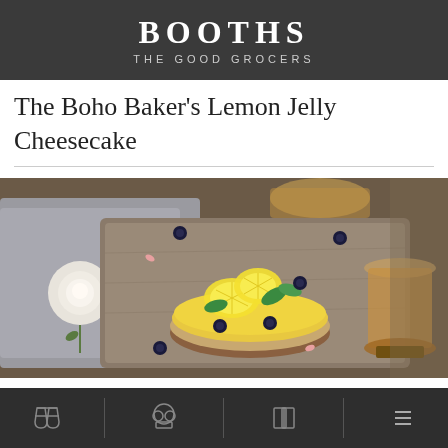BOOTHS THE GOOD GROCERS
The Boho Baker's Lemon Jelly Cheesecake
[Figure (photo): A lemon jelly cheesecake topped with lemon slices, blueberries, and mint leaves, presented on a rustic wooden board with a white rose, grey linen cloth, scattered blueberries, and a glass of amber drink in the background]
6 servings   to prepare